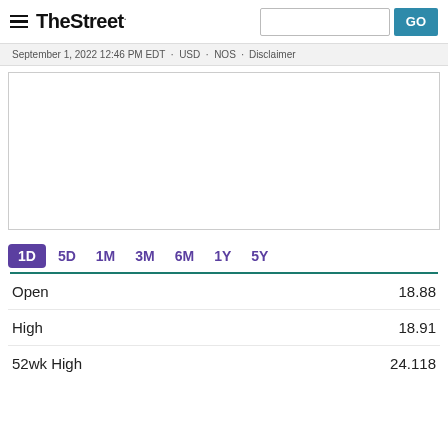TheStreet — GO
September 1, 2022 12:46 PM EDT · USD · NOS · Disclaimer
[Figure (other): Empty white chart area with border, placeholder for stock price chart]
1D  5D  1M  3M  6M  1Y  5Y
|  |  |
| --- | --- |
| Open | 18.88 |
| High | 18.91 |
| 52wk High | 24.118 |